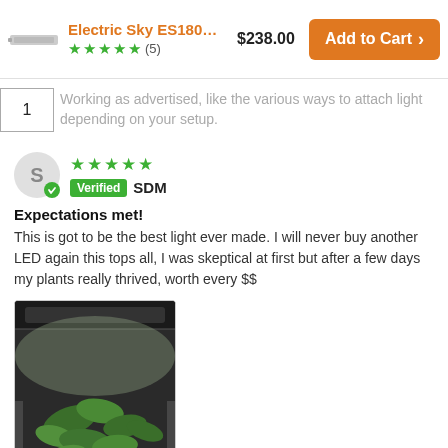Electric Sky ES180... $238.00 Add to Cart (5 stars, 5 reviews)
1
Working as advertised, like the various ways to attach light depending on your setup.
★★★★★ Verified SDM
Expectations met!
This is got to be the best light ever made. I will never buy another LED again this tops all, I was skeptical at first but after a few days my plants really thrived, worth every $$
[Figure (photo): Photo of plants growing under LED grow light in a grow tent, viewed from above]
★★★★★